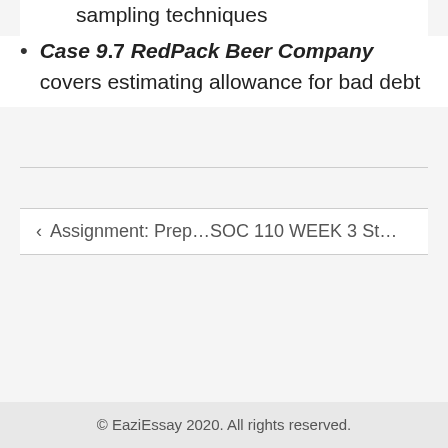sampling techniques
Case 9.7 RedPack Beer Company covers estimating allowance for bad debt
Assignment: Prep…SOC 110 WEEK 3 St…
© EaziEssay 2020. All rights reserved.